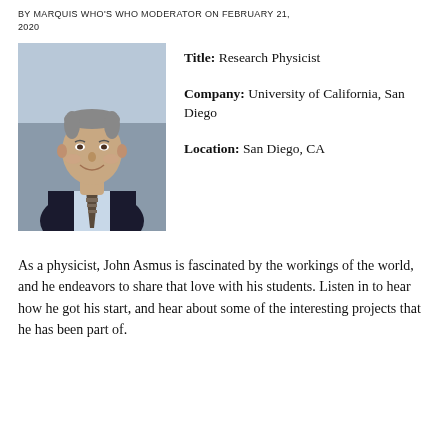BY MARQUIS WHO'S WHO MODERATOR ON FEBRUARY 21, 2020
[Figure (photo): Headshot of John Asmus, an older man in a dark suit with a patterned tie, smiling, photographed outdoors.]
Title: Research Physicist
Company: University of California, San Diego
Location: San Diego, CA
As a physicist, John Asmus is fascinated by the workings of the world, and he endeavors to share that love with his students. Listen in to hear how he got his start, and hear about some of the interesting projects that he has been part of.